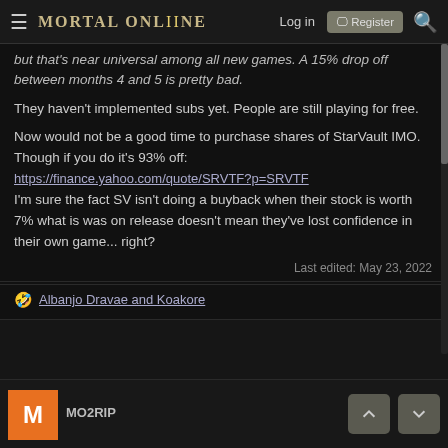MORTAL ONLINE2 — Log in | Register | Search
but that's near universal among all new games. A 15% drop off between months 4 and 5 is pretty bad.
They haven't implemented subs yet. People are still playing for free.
Now would not be a good time to purchase shares of StarVault IMO. Though if you do it's 93% off: https://finance.yahoo.com/quote/SRVTF?p=SRVTF I'm sure the fact SV isn't doing a buyback when their stock is worth 7% what is was on release doesn't mean they've lost confidence in their own game... right?
Last edited: May 23, 2022
🤣 Albanjo Dravae and Koakore
MO2RIP